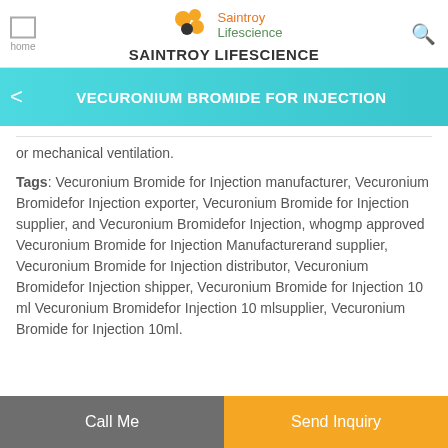SAINTROY LIFESCIENCE
VECURONIUM BROMIDE FOR INJECTION
or mechanical ventilation.
Tags: Vecuronium Bromide for Injection manufacturer, Vecuronium Bromidefor Injection exporter, Vecuronium Bromide for Injection supplier, and Vecuronium Bromidefor Injection, whogmp approved Vecuronium Bromide for Injection Manufacturerand supplier, Vecuronium Bromide for Injection distributor, Vecuronium Bromidefor Injection shipper, Vecuronium Bromide for Injection 10 ml Vecuronium Bromidefor Injection 10 mlsupplier, Vecuronium Bromide for Injection 10ml.
Call Me | Send Inquiry